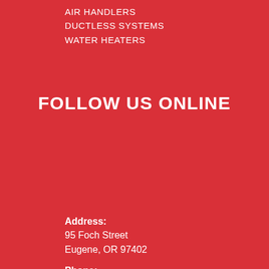AIR HANDLERS
DUCTLESS SYSTEMS
WATER HEATERS
FOLLOW US ONLINE
Address:
95 Foch Street
Eugene, OR 97402
Phone:
(541) 345-2838
Office Hours:
Mon - Thur
7:30 AM - 4:30 PM
Friday